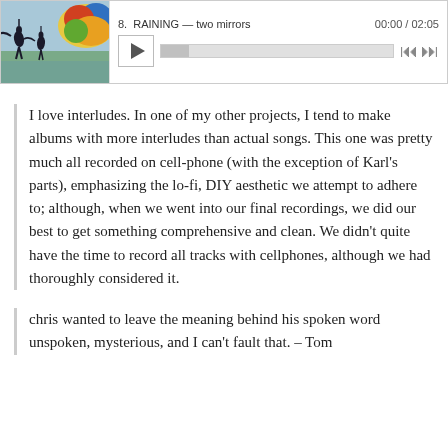[Figure (screenshot): Music player UI showing album art (birds/nature scene), play button, track name '8. RAINING — two mirrors', time '00:00 / 02:05', progress bar, and navigation buttons]
I love interludes. In one of my other projects, I tend to make albums with more interludes than actual songs. This one was pretty much all recorded on cell-phone (with the exception of Karl's parts), emphasizing the lo-fi, DIY aesthetic we attempt to adhere to; although, when we went into our final recordings, we did our best to get something comprehensive and clean. We didn't quite have the time to record all tracks with cellphones, although we had thoroughly considered it.
chris wanted to leave the meaning behind his spoken word unspoken, mysterious, and I can't fault that. – Tom